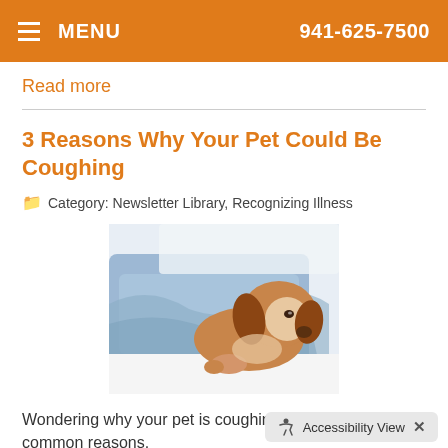MENU   941-625-7500
Read more
3 Reasons Why Your Pet Could Be Coughing
Category: Newsletter Library, Recognizing Illness
[Figure (photo): A sick basset hound dog lying down wrapped in a blue cloth blanket, looking unwell]
Wondering why your pet is coughing? Check out three common reasons.
Read more